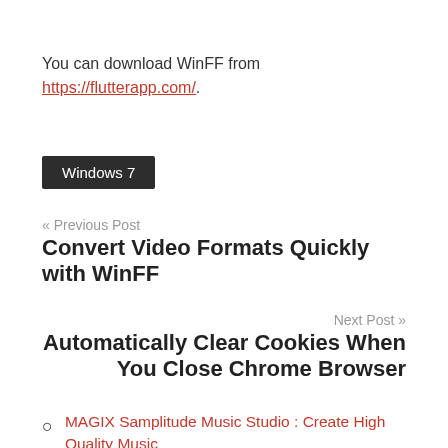You can download WinFF from https://flutterapp.com/.
Windows 7
« Previous Post
Convert Video Formats Quickly with WinFF
Next Post »
Automatically Clear Cookies When You Close Chrome Browser
MAGIX Samplitude Music Studio : Create High Quality Music